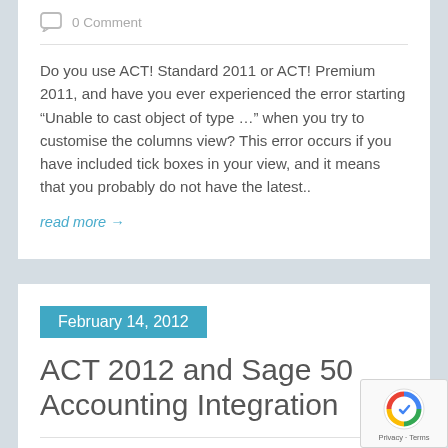0 Comment
Do you use ACT! Standard 2011 or ACT! Premium 2011, and have you ever experienced the error starting “Unable to cast object of type …” when you try to customise the columns view? This error occurs if you have included tick boxes in your view, and it means that you probably do not have the latest..
read more →
February 14, 2012
ACT 2012 and Sage 50 Accounting Integration
0 Comment
I have this week started to use a lovely new PC, and